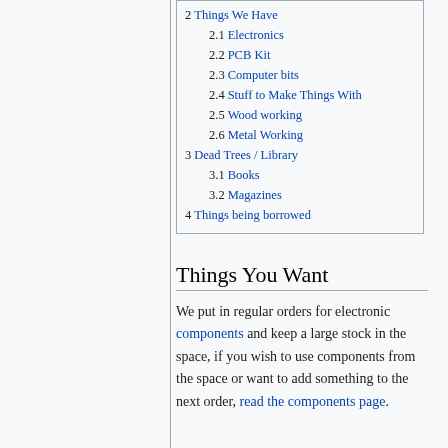2 Things We Have
2.1 Electronics
2.2 PCB Kit
2.3 Computer bits
2.4 Stuff to Make Things With
2.5 Wood working
2.6 Metal Working
3 Dead Trees / Library
3.1 Books
3.2 Magazines
4 Things being borrowed
Things You Want
We put in regular orders for electronic components and keep a large stock in the space, if you wish to use components from the space or want to add something to the next order, read the components page.